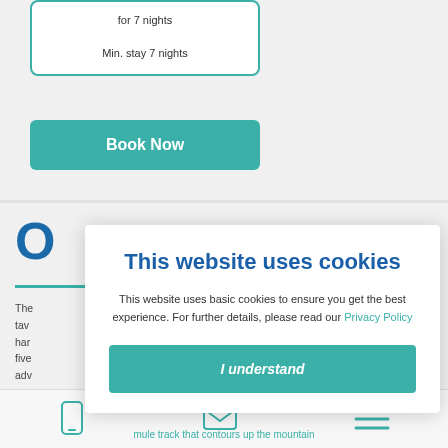Min. stay 7 nights
Book Now
O
The
tav
har
five
adv
[Figure (screenshot): Cookie consent modal overlay with title 'This website uses cookies', body text explaining basic cookies and Privacy Policy link, and an 'I understand' button]
This website uses cookies
This website uses basic cookies to ensure you get the best experience. For further details, please read our Privacy Policy
I understand
mule track that contours up the mountain
mule track that contours up the mountain